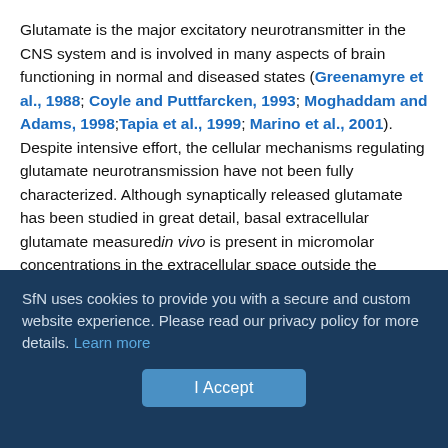Glutamate is the major excitatory neurotransmitter in the CNS system and is involved in many aspects of brain functioning in normal and diseased states (Greenamyre et al., 1988; Coyle and Puttfarcken, 1993; Moghaddam and Adams, 1998;Tapia et al., 1999; Marino et al., 2001). Despite intensive effort, the cellular mechanisms regulating glutamate neurotransmission have not been fully characterized. Although synaptically released glutamate has been studied in great detail, basal extracellular glutamate measured in vivo is present in micromolar concentrations in the extracellular space outside the synaptic cleft, and neither the origin nor the function of this pool of glutamate is known (Timmerman and Westerink, 1997). Given the extrasynaptic location of Na+-dependent glutamate transporters, as well as group II and III
SfN uses cookies to provide you with a secure and custom website experience. Please read our privacy policy for more details. Learn more